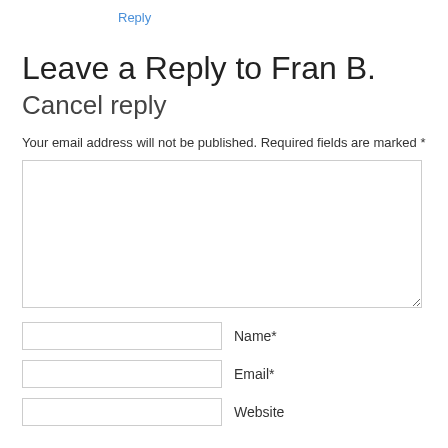Reply
Leave a Reply to Fran B. Cancel reply
Your email address will not be published. Required fields are marked *
[Figure (other): Comment text area input box]
Name*
Email*
Website